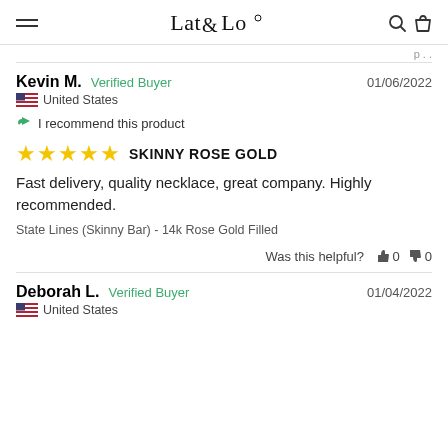Lat & Lo
Kevin M.  Verified Buyer  01/06/2022  United States
I recommend this product
★★★★★  SKINNY ROSE GOLD
Fast delivery, quality necklace, great company. Highly recommended.
State Lines (Skinny Bar) - 14k Rose Gold Filled
Was this helpful? 👍 0 👎 0
Deborah L.  Verified Buyer  01/04/2022  United States